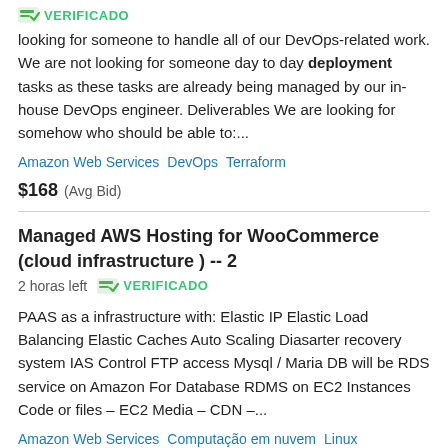[Figure (logo): Green VERIFICADO badge with checkmark icon]
looking for someone to handle all of our DevOps-related work. We are not looking for someone day to day deployment tasks as these tasks are already being managed by our in-house DevOps engineer. Deliverables We are looking for somehow who should be able to:...
Amazon Web Services   DevOps   Terraform
$168  (Avg Bid)
Managed AWS Hosting for WooCommerce (cloud infrastructure ) -- 2  2 horas left  VERIFICADO
PAAS as a infrastructure with: Elastic IP Elastic Load Balancing Elastic Caches Auto Scaling Diasarter recovery system IAS Control FTP access Mysql / Maria DB will be RDS service on Amazon For Database RDMS on EC2 Instances Code or files – EC2 Media – CDN –...
Amazon Web Services   Computação em nuvem   Linux   MySQL   WordPress / Web